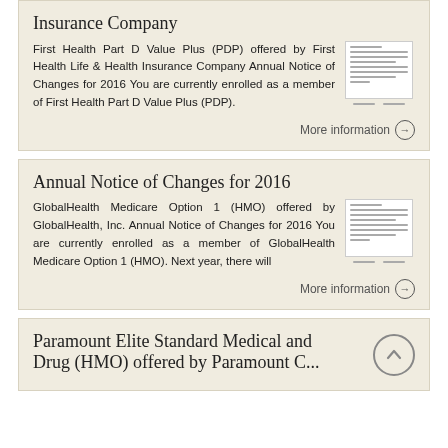Insurance Company
First Health Part D Value Plus (PDP) offered by First Health Life & Health Insurance Company Annual Notice of Changes for 2016 You are currently enrolled as a member of First Health Part D Value Plus (PDP).
More information →
Annual Notice of Changes for 2016
GlobalHealth Medicare Option 1 (HMO) offered by GlobalHealth, Inc. Annual Notice of Changes for 2016 You are currently enrolled as a member of GlobalHealth Medicare Option 1 (HMO). Next year, there will
More information →
Paramount Elite Standard Medical and Drug (HMO) offered by Paramount C...